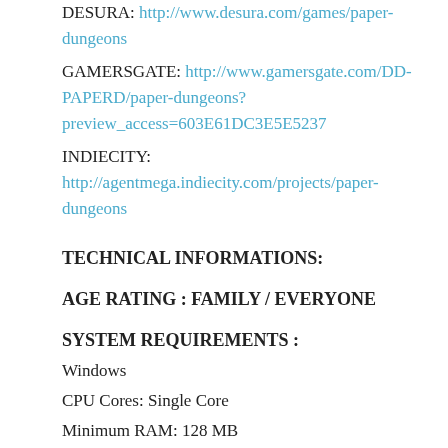DESURA: http://www.desura.com/games/paper-dungeons
GAMERSGATE: http://www.gamersgate.com/DD-PAPERD/paper-dungeons?preview_access=603E61DC3E5E5237
INDIECITY: http://agentmega.indiecity.com/projects/paper-dungeons
TECHNICAL INFORMATIONS:
AGE RATING : FAMILY / EVERYONE
SYSTEM REQUIREMENTS :
Windows
CPU Cores: Single Core
Minimum RAM: 128 MB